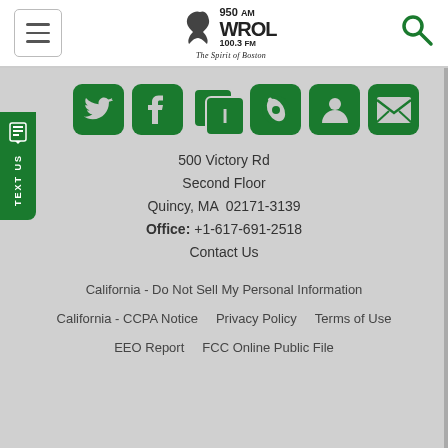[Figure (logo): 950 AM WROL 100.3 FM The Spirit of Boston radio station logo with bird graphic]
[Figure (infographic): Row of green social media icons: Twitter, Facebook, TuneIn/Text, Apple News, User/Account, Email/Newsletter]
500 Victory Rd
Second Floor
Quincy, MA  02171-3139
Office: +1-617-691-2518
Contact Us
California - Do Not Sell My Personal Information
California - CCPA Notice   Privacy Policy   Terms of Use
EEO Report   FCC Online Public File